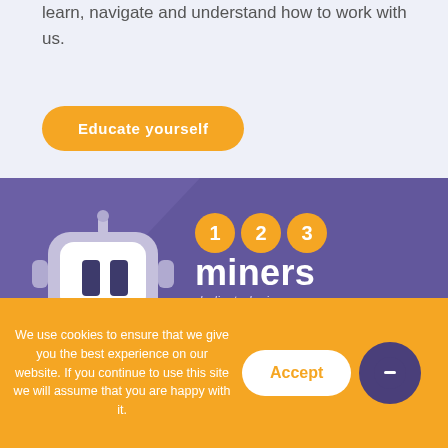learn, navigate and understand how to work with us.
Educate yourself
[Figure (logo): 123miners logo with robot mascot on purple background: robot character on left, three orange circles with numbers 1, 2, 3, and the word 'miners' in white bold text below]
We use cookies to ensure that we give you the best experience on our website. If you continue to use this site we will assume that you are happy with it.
Accept